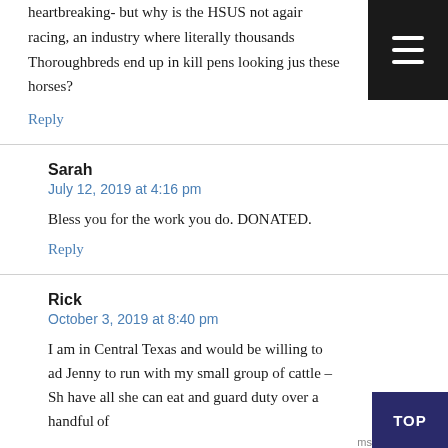heartbreaking- but why is the HSUS not again racing, an industry where literally thousands Thoroughbreds end up in kill pens looking ju these horses?
Reply
Sarah
July 12, 2019 at 4:16 pm
Bless you for the work you do. DONATED.
Reply
Rick
October 3, 2019 at 8:40 pm
I am in Central Texas and would be willing to a Jenny to run with my small group of cattle – Sh have all she can eat and guard duty over a handful of